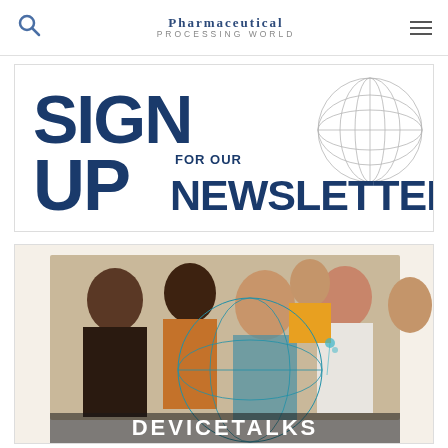Pharmaceutical Processing World
[Figure (illustration): Newsletter sign-up promotional banner with large dark blue text reading SIGN UP FOR OUR NEWSLETTER and a wireframe globe graphic]
[Figure (photo): Group of diverse professionals in discussion at a conference, with DEVICETALKS text overlay at the bottom]